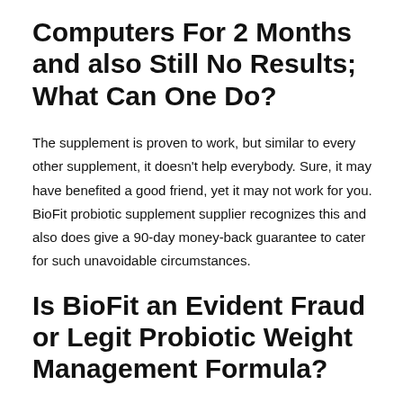Computers For 2 Months and also Still No Results; What Can One Do?
The supplement is proven to work, but similar to every other supplement, it doesn't help everybody. Sure, it may have benefited a good friend, yet it may not work for you. BioFit probiotic supplement supplier recognizes this and also does give a 90-day money-back guarantee to cater for such unavoidable circumstances.
Is BioFit an Evident Fraud or Legit Probiotic Weight Management Formula?
The BioFit fraud story found online is grabbing heavy steam, and also for a reason. With a simple little bit of research, and...